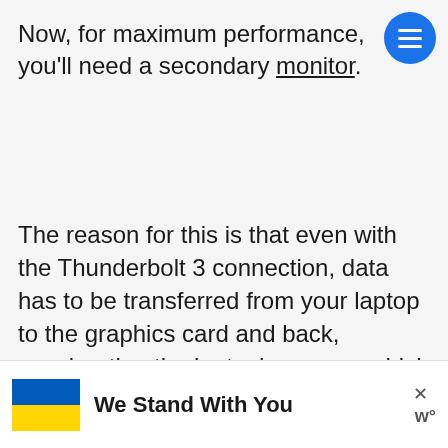Now, for maximum performance, you'll need a secondary monitor.
The reason for this is that even with the Thunderbolt 3 connection, data has to be transferred from your laptop to the graphics card and back, accelerating the laptop's screen, which can lead to some slowdown.
[Figure (other): Advertisement banner with Ukrainian flag graphic and text 'We Stand With You' with close button and logo]